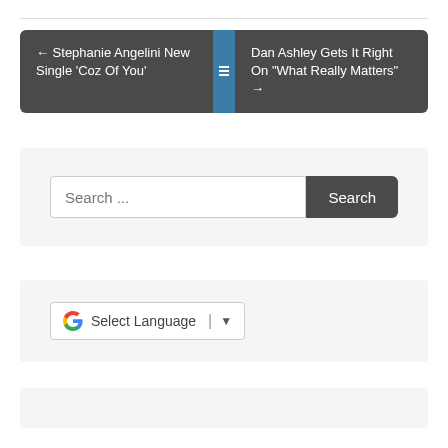← Stephanie Angelini New Single 'Coz Of You'
Dan Ashley Gets It Right On “What Really Matters” →
Search ...
Select Language